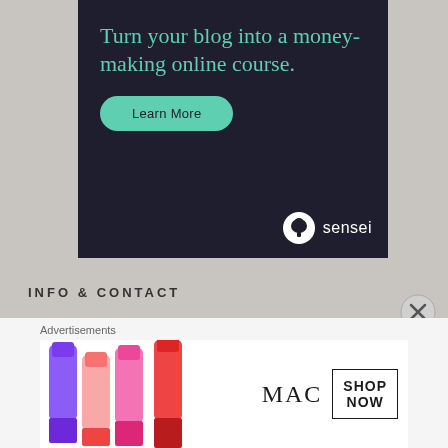[Figure (infographic): Sensei advertisement banner with dark navy background. Large teal text reads 'Turn your blog into a money-making online course.' A teal rounded button says 'Learn More'. Sensei logo (tree icon) and 'sensei' text appear at bottom right.]
INFO & CONTACT
E-Mail: bobcolling@gmail.com
Twitter: @BobWresRecap
Advertisements
[Figure (photo): MAC Cosmetics advertisement showing colorful lipsticks on the left, MAC logo in the center, and a 'SHOP NOW' box on the right.]